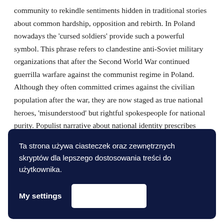community to rekindle sentiments hidden in traditional stories about common hardship, opposition and rebirth. In Poland nowadays the 'cursed soldiers' provide such a powerful symbol. This phrase refers to clandestine anti-Soviet military organizations that after the Second World War continued guerrilla warfare against the communist regime in Poland. Although they often committed crimes against the civilian population after the war, they are now staged as true national heroes, 'misunderstood' but rightful spokespeople for national purity. Populist narrative about national identity prescribes criteria for defining those who are truly and rightfully constitutive of 'the nation' or 'the people', whom populist
Ta strona używa ciasteczek oraz zewnętrznych skryptów dla lepszego dostosowania treści do użytkownika.
My settings